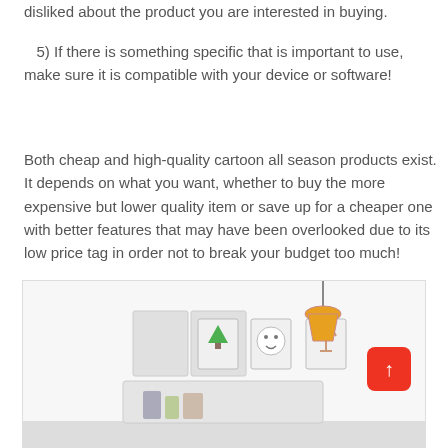disliked about the product you are interested in buying.
5) If there is something specific that is important to use, make sure it is compatible with your device or software!
Both cheap and high-quality cartoon all season products exist. It depends on what you want, whether to buy the more expensive but lower quality item or save up for a cheaper one with better features that may have been overlooked due to its low price tag in order not to break your budget too much!
[Figure (illustration): A decorative illustration showing a room scene with small framed pictures on a wall, a tree ornament, a smiley face, and a hanging lamp, partially visible at the bottom of the page. A red scroll-to-top button is visible in the lower right.]